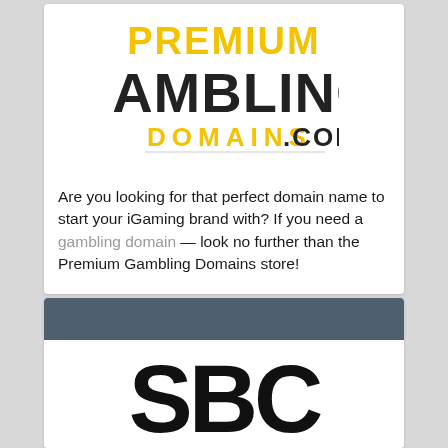[Figure (logo): Premium Gambling Domains .com logo — 'PREMIUM' in yellow, 'GAMBLING' in dark grey/black, 'DOMAINS.COM' in yellow and black bold condensed text]
Are you looking for that perfect domain name to start your iGaming brand with? If you need a gambling domain — look no further than the Premium Gambling Domains store!
[Figure (logo): SBC logo — large black bold letters 'SBC' partially visible, white background with dark grey header bar above]